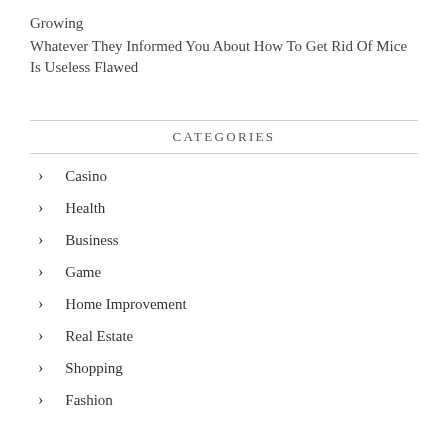Growing
Whatever They Informed You About How To Get Rid Of Mice Is Useless Flawed
CATEGORIES
Casino
Health
Business
Game
Home Improvement
Real Estate
Shopping
Fashion